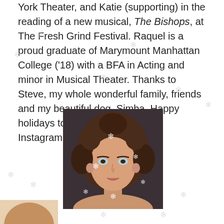York Theater, and Katie (supporting) in the reading of a new musical, The Bishops, at The Fresh Grind Festival. Raquel is a proud graduate of Marymount Manhattan College ('18) with a BFA in Acting and minor in Musical Theater. Thanks to Steve, my whole wonderful family, friends and my beautiful dog, Simba. Happy holidays to all! RaquelKahn.com Instagram: R_quelly
[Figure (photo): Headshot of a young woman with long curly brown hair, blue eyes, professional acting headshot against dark background. Decorative snowflake overlays on the image.]
[Figure (photo): Partial bottom photo of another person, only top of head visible, light background.]